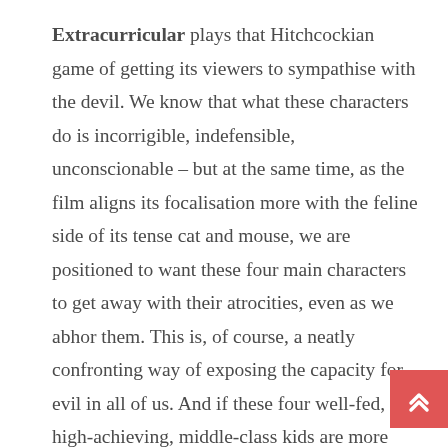Extracurricular plays that Hitchcockian game of getting its viewers to sympathise with the devil. We know that what these characters do is incorrigible, indefensible, unconscionable – but at the same time, as the film aligns its focalisation more with the feline side of its tense cat and mouse, we are positioned to want these four main characters to get away with their atrocities, even as we abhor them. This is, of course, a neatly confronting way of exposing the capacity for evil in all of us. And if these four well-fed, high-achieving, middle-class kids are more than happy to exploit, objectify and assassinate strangers for their own kicks, then we are left to wonder what they are capable, when push comes to shove, of doing to their friends, their loved ones and each other. Carefully, the film explores precisely where the ethical boundaries lie for e and very one of them. The results, though not (morally)